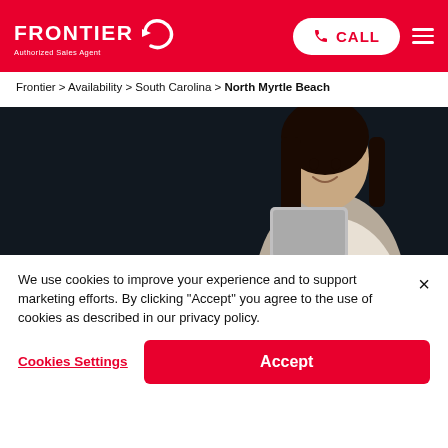FRONTIER Authorized Sales Agent | CALL | Menu
Frontier > Availability > South Carolina > North Myrtle Beach
[Figure (photo): Dark background hero image with a smiling woman holding a tablet]
We use cookies to improve your experience and to support marketing efforts. By clicking "Accept" you agree to the use of cookies as described in our privacy policy.
Cookies Settings | Accept